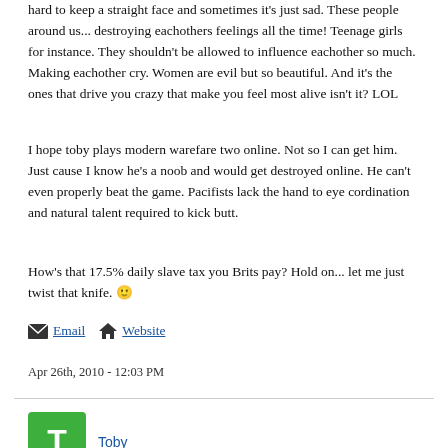hard to keep a straight face and sometimes it's just sad. These people around us... destroying eachothers feelings all the time! Teenage girls for instance. They shouldn't be allowed to influence eachother so much. Making eachother cry. Women are evil but so beautiful. And it's the ones that drive you crazy that make you feel most alive isn't it? LOL
I hope toby plays modern warefare two online. Not so I can get him. Just cause I know he's a noob and would get destroyed online. He can't even properly beat the game. Pacifists lack the hand to eye cordination and natural talent required to kick butt.
How's that 17.5% daily slave tax you Brits pay? Hold on... let me just twist that knife. 🙂
Email  Website
Apr 26th, 2010 - 12:03 PM
Toby
Re: Anyone who thinks they can better define a 'conscience' is welcome to give it a go...